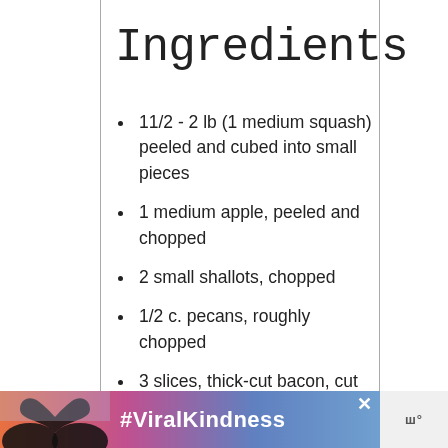Ingredients
11/2 - 2 lb (1 medium squash) peeled and cubed into small pieces
1 medium apple, peeled and chopped
2 small shallots, chopped
1/2 c. pecans, roughly chopped
3 slices, thick-cut bacon, cut into small pieces
[Figure (infographic): Advertisement banner with #ViralKindness text and heart silhouette image on a colorful gradient background]